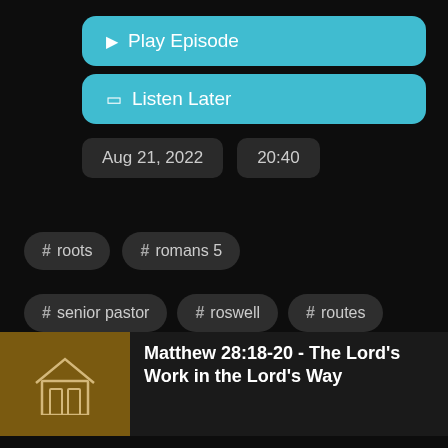▶ Play Episode
🔖 Listen Later
Aug 21, 2022   20:40
# roots
# romans 5
# senior pastor
# roswell
# routes
# presbyterian church
Matthew 28:18-20 - The Lord's Work in the Lord's Way